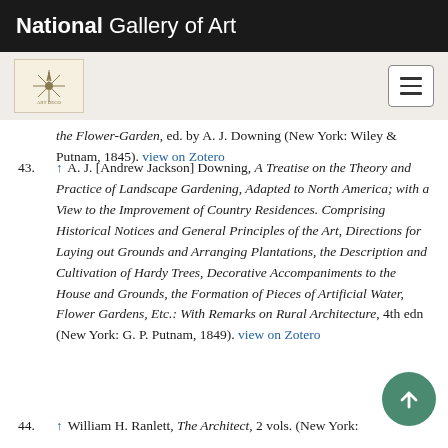National Gallery of Art
the Flower-Garden, ed. by A. J. Downing (New York: Wiley & Putnam, 1845). view on Zotero
43. ↑ A. J. [Andrew Jackson] Downing, A Treatise on the Theory and Practice of Landscape Gardening, Adapted to North America; with a View to the Improvement of Country Residences. Comprising Historical Notices and General Principles of the Art, Directions for Laying out Grounds and Arranging Plantations, the Description and Cultivation of Hardy Trees, Decorative Accompaniments to the House and Grounds, the Formation of Pieces of Artificial Water, Flower Gardens, Etc.: With Remarks on Rural Architecture, 4th edn (New York: G. P. Putnam, 1849). view on Zotero
44. ↑ William H. Ranlett, The Architect, 2 vols. (New York: